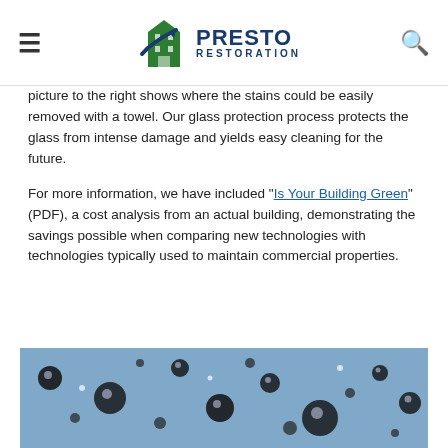Presto Restoration
picture to the right shows where the stains could be easily removed with a towel. Our glass protection process protects the glass from intense damage and yields easy cleaning for the future.
For more information, we have included "Is Your Building Green" (PDF), a cost analysis from an actual building, demonstrating the savings possible when comparing new technologies with technologies typically used to maintain commercial properties.
[Figure (photo): Close-up macro photograph of water droplets on a glass or blue surface, showing beading water drops of various sizes against a dark and blue background.]